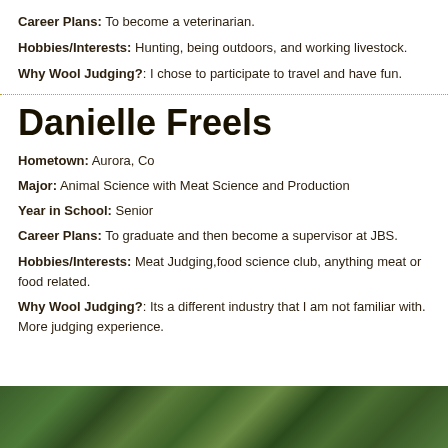Career Plans: To become a veterinarian.
Hobbies/Interests: Hunting, being outdoors, and working livestock.
Why Wool Judging?: I chose to participate to travel and have fun.
Danielle Freels
Hometown: Aurora, Co
Major: Animal Science with Meat Science and Production
Year in School: Senior
Career Plans: To graduate and then become a supervisor at JBS.
Hobbies/Interests: Meat Judging,food science club, anything meat or food related.
Why Wool Judging?: Its a different industry that I am not familiar with. More judging experience.
[Figure (photo): Outdoor nature/forest photo strip at bottom of page]